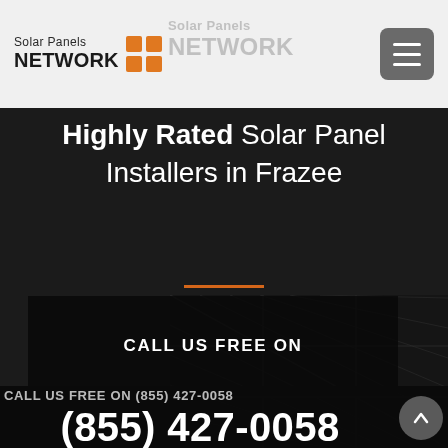Solar Panels NETWORK
Highly Rated Solar Panel Installers in Frazee
CALL US FREE ON
CALL US FREE ON (855) 427-0058
(855) 427-0058